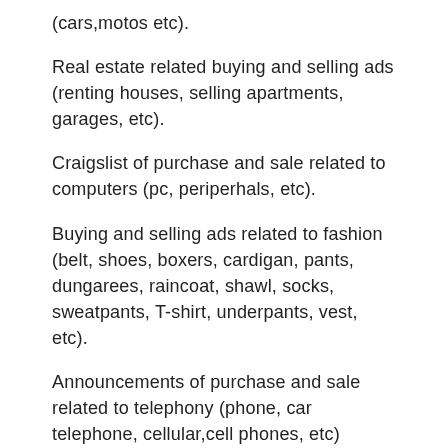(cars,motos etc).
Real estate related buying and selling ads (renting houses, selling apartments, garages, etc).
Craigslist of purchase and sale related to computers (pc, periperhals, etc).
Buying and selling ads related to fashion (belt, shoes, boxers, cardigan, pants, dungarees, raincoat, shawl, socks, sweatpants, T-shirt, underpants, vest, etc).
Announcements of purchase and sale related to telephony (phone, car telephone, cellular,cell phones, etc)
Craigslist of adoption of animals (Goldfish